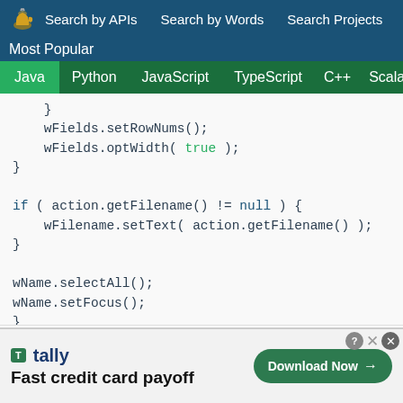Search by APIs   Search by Words   Search Projects
Most Popular
Java  Python  JavaScript  TypeScript  C++  Scala
}
    wFields.setRowNums();
    wFields.optWidth( true );
}

if ( action.getFilename() != null ) {
    wFilename.setText( action.getFilename() );
}

wName.selectAll();
wName.setFocus();
}
[Figure (screenshot): Advertisement banner for Tally: Fast credit card payoff with Download Now button]